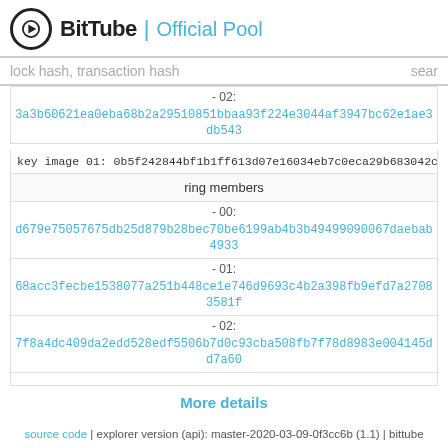BitTube | Official Pool
lock hash, transaction hash    sear
- 02:
3a3b60621ea0eba68b2a29510851bbaa93f224e3044af3947bc62e1ae3db543
key image 01: 0b5f242844bf1b1ff613d07e16034eb7c0eca29b683042cceabe3
ring members
- 00:
d679e75057675db25d879b28bec70be6199ab4b3b49499090067daebab4933
- 01:
68acc3fecbe1538077a251b448ce1e746d9693c4b2a398fb9efd7a27083581f
- 02:
7f8a4dc409da2edd528edf5506b7d0c93cba508fb7f78d8983e004145dd7a60
More details
source code | explorer version (api): master-2020-03-09-0f3cc6b (1.1) | bittube version: 3.1.0.0-master-34dd77663